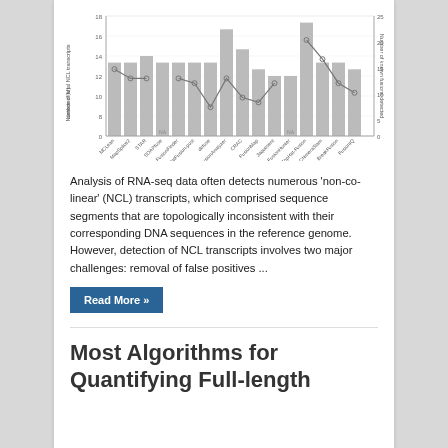[Figure (grouped-bar-chart): Number of total NCL transcripts detected vs. Number of known fusions detected]
Analysis of RNA-seq data often detects numerous 'non-co-linear' (NCL) transcripts, which comprised sequence segments that are topologically inconsistent with their corresponding DNA sequences in the reference genome. However, detection of NCL transcripts involves two major challenges: removal of false positives ...
Read More »
Most Algorithms for Quantifying Full-length RNA Seq to F...